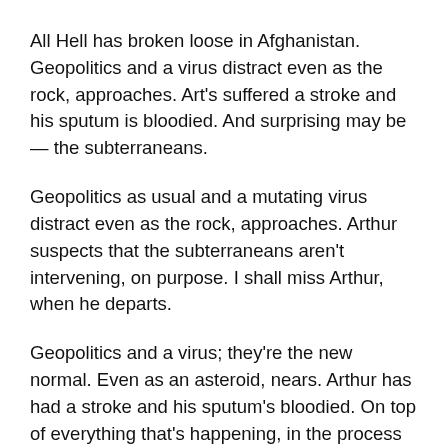All Hell has broken loose in Afghanistan. Geopolitics and a virus distract even as the rock, approaches. Art's suffered a stroke and his sputum is bloodied. And surprising may be — the subterraneans.
Geopolitics as usual and a mutating virus distract even as the rock, approaches. Arthur suspects that the subterraneans aren't intervening, on purpose. I shall miss Arthur, when he departs.
Geopolitics and a virus; they're the new normal. Even as an asteroid, nears. Arthur has had a stroke and his sputum's bloodied. On top of everything that's happening, in the process of dying, is Art.
Convoluted plots, converge. Plots of viruses and asteroids and elections, contested. Afghanistan has blown up in